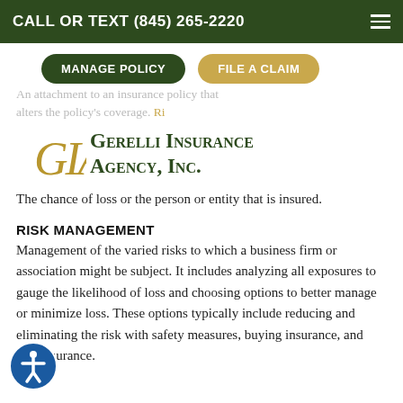CALL OR TEXT (845) 265-2220
MANAGE POLICY   FILE A CLAIM
An attachment to an insurance policy that alters the policy's coverage. Risk
[Figure (logo): Gerelli Insurance Agency, Inc. logo with GIA monogram in gold italic and agency name in dark green small-caps]
The chance of loss or the person or entity that is insured.
RISK MANAGEMENT
Management of the varied risks to which a business firm or association might be subject. It includes analyzing all exposures to gauge the likelihood of loss and choosing options to better manage or minimize loss. These options typically include reducing and eliminating the risk with safety measures, buying insurance, and self-insurance.